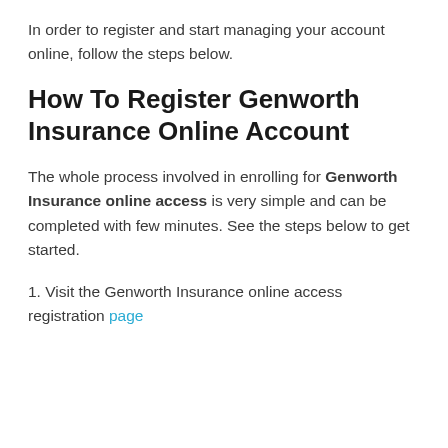In order to register and start managing your account online, follow the steps below.
How To Register Genworth Insurance Online Account
The whole process involved in enrolling for Genworth Insurance online access is very simple and can be completed with few minutes. See the steps below to get started.
1. Visit the Genworth Insurance online access registration page